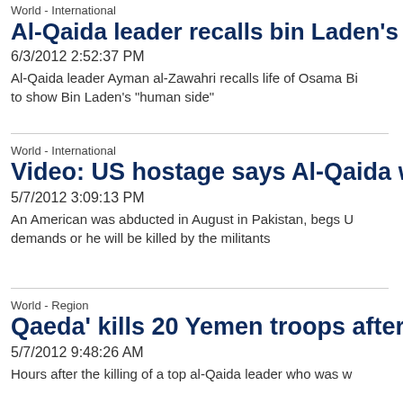World - International
Al-Qaida leader recalls bin Laden's 'genero
6/3/2012 2:52:37 PM
Al-Qaida leader Ayman al-Zawahri recalls life of Osama Bi… to show Bin Laden's "human side"
World - International
Video: US hostage says Al-Qaida will kill me
5/7/2012 3:09:13 PM
An American was abducted in August in Pakistan, begs U… demands or he will be killed by the militants
World - Region
Qaeda' kills 20 Yemen troops after leader
5/7/2012 9:48:26 AM
Hours after the killing of a top al-Qaida leader who was w…